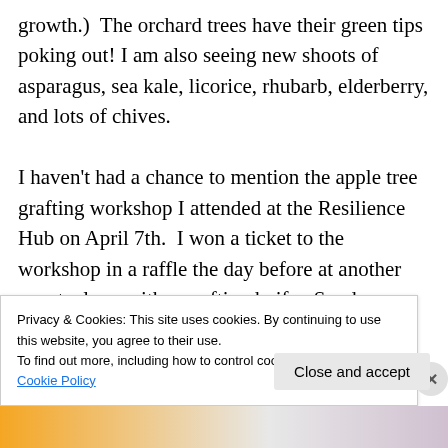growth.)  The orchard trees have their green tips poking out! I am also seeing new shoots of asparagus, sea kale, licorice, rhubarb, elderberry, and lots of chives.

I haven't had a chance to mention the apple tree grafting workshop I attended at the Resilience Hub on April 7th.  I won a ticket to the workshop in a raffle the day before at another event, along with a grafting knife.  So, do you remember learning the story of Johnny Appleseed, when
Privacy & Cookies: This site uses cookies. By continuing to use this website, you agree to their use.
To find out more, including how to control cookies, see here: Cookie Policy
Close and accept